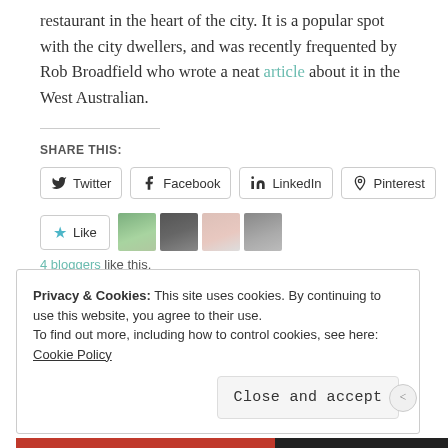restaurant in the heart of the city. It is a popular spot with the city dwellers, and was recently frequented by Rob Broadfield who wrote a neat article about it in the West Australian.
SHARE THIS:
Twitter
Facebook
LinkedIn
Pinterest
4 bloggers like this.
Privacy & Cookies: This site uses cookies. By continuing to use this website, you agree to their use. To find out more, including how to control cookies, see here: Cookie Policy
Close and accept